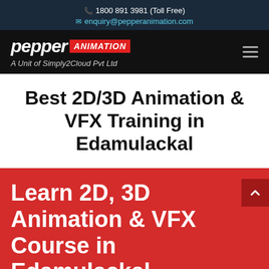1800 891 3981 (Toll Free)
enquiry@pepperanimation.com
[Figure (logo): Pepper Animation logo with red badge reading ANIMATION, subtitle: A Unit of Simply2Cloud Pvt Ltd]
Best 2D/3D Animation & VFX Training in Edamulackal
Learn 2D, 3D Animation & VFX Course in Edamulackal
Pepper Animation 1 year Diploma